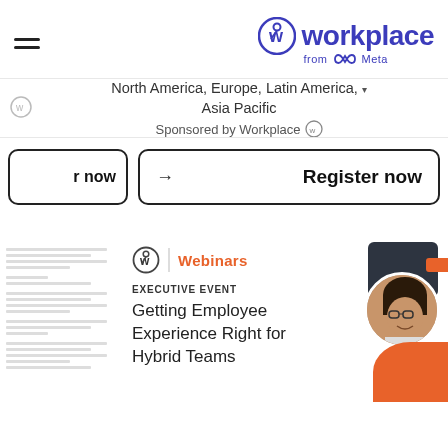[Figure (logo): Workplace from Meta logo with hamburger menu icon on the left]
North America, Europe, Latin America, Asia Pacific
Sponsored by Workplace
er now   →   Register now
[Figure (screenshot): Faint document preview on the left side]
[Figure (other): Workplace Webinars card with person photo. EXECUTIVE EVENT - Getting Employee Experience Right for Hybrid Teams]